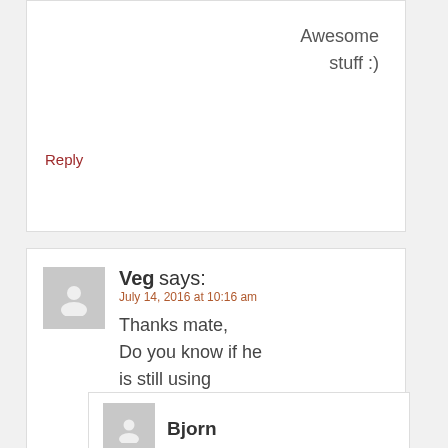Awesome stuff :)
Reply
Veg says:
July 14, 2016 at 10:16 am
Thanks mate, Do you know if he is still using DÃ ndrea 351 and 354's?
Reply
Bjorn